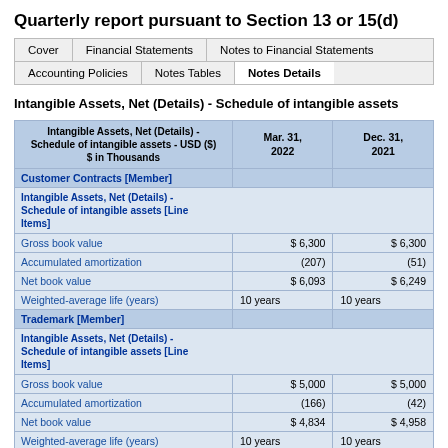Quarterly report pursuant to Section 13 or 15(d)
Cover | Financial Statements | Notes to Financial Statements | Accounting Policies | Notes Tables | Notes Details
Intangible Assets, Net (Details) - Schedule of intangible assets
| Intangible Assets, Net (Details) - Schedule of intangible assets - USD ($) $ in Thousands | Mar. 31, 2022 | Dec. 31, 2021 |
| --- | --- | --- |
| Customer Contracts [Member] |  |  |
| Intangible Assets, Net (Details) - Schedule of intangible assets [Line Items] |  |  |
| Gross book value | $ 6,300 | $ 6,300 |
| Accumulated amortization | (207) | (51) |
| Net book value | $ 6,093 | $ 6,249 |
| Weighted-average life (years) | 10 years | 10 years |
| Trademark [Member] |  |  |
| Intangible Assets, Net (Details) - Schedule of intangible assets [Line Items] |  |  |
| Gross book value | $ 5,000 | $ 5,000 |
| Accumulated amortization | (166) | (42) |
| Net book value | $ 4,834 | $ 4,958 |
| Weighted-average life (years) | 10 years | 10 years |